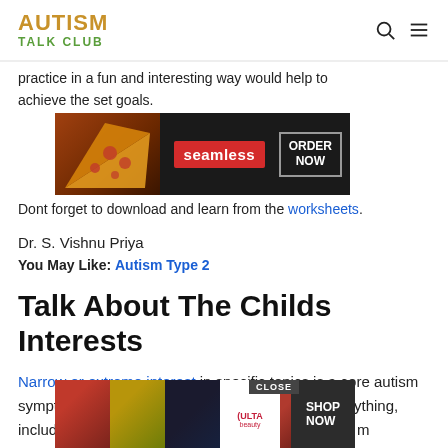AUTISM TALK CLUB
practice in a fun and interesting way would help to achieve the set goals.
[Figure (screenshot): Seamless food delivery advertisement banner with pizza image, ORDER NOW button]
Dont forget to download and learn from the worksheets.
Dr. S. Vishnu Priya
You May Like: Autism Type 2
Talk About The Childs Interests
Narrow or extreme interest in specific topics is a core autism symptom. Children can be fascinated by almost anything, including maps, numbers, recipes, geography, and m...
[Figure (screenshot): Ulta Beauty advertisement banner with close button]